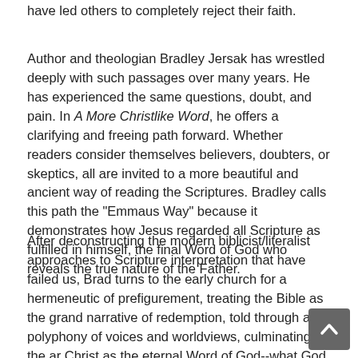have led others to completely reject their faith.
Author and theologian Bradley Jersak has wrestled deeply with such passages over many years. He has experienced the same questions, doubt, and pain. In A More Christlike Word, he offers a clarifying and freeing path forward. Whether readers consider themselves believers, doubters, or skeptics, all are invited to a more beautiful and ancient way of reading the Scriptures. Bradley calls this path the "Emmaus Way" because it demonstrates how Jesus regarded all Scripture as fulfilled in himself, the final Word of God who reveals the true nature of the Father.
After deconstructing the modern biblicist/literalist approaches to Scripture interpretation that have failed us, Brad turns to the early church for a hermeneutic of prefigurement, treating the Bible as the grand narrative of redemption, told through a polyphony of voices and worldviews, culminating in the arrival of Christ as the eternal Word of God--what God has to say about himself.